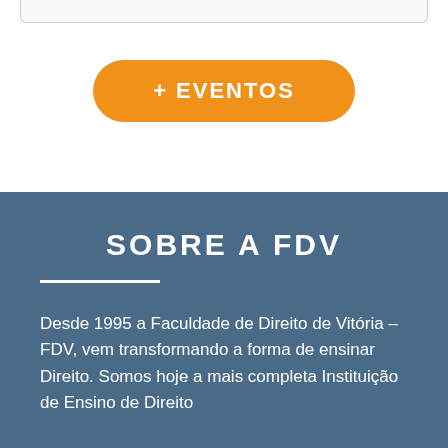[Figure (other): Top border box element from previous card/section]
+ EVENTOS
SOBRE A FDV
Desde 1995 a Faculdade de Direito de Vitória – FDV, vem transformando a forma de ensinar Direito. Somos hoje a mais completa Instituição de Ensino de Direito